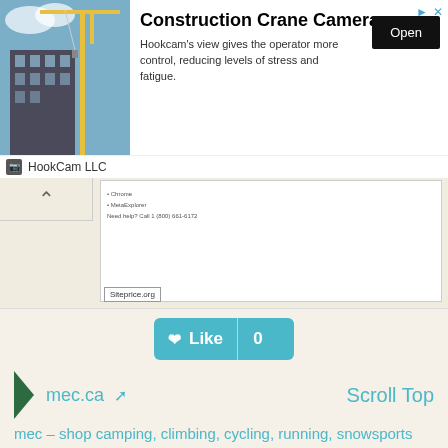[Figure (screenshot): Advertisement banner: Construction Crane Camera by HookCam LLC with building/crane image, Open button, and description text]
[Figure (screenshot): Screenshot of a website with text content and siteprice.org watermark]
[Figure (other): Like button with heart icon showing count 0, teal colored]
mec.ca
Scroll Top
mec – shop camping, climbing, cycling, running, snowsports and more
mec is canada's go-to place for outdoor gear, know-how and inspiration. shop with confidence. our products and our advice are backed by a rocksolid guarantee.